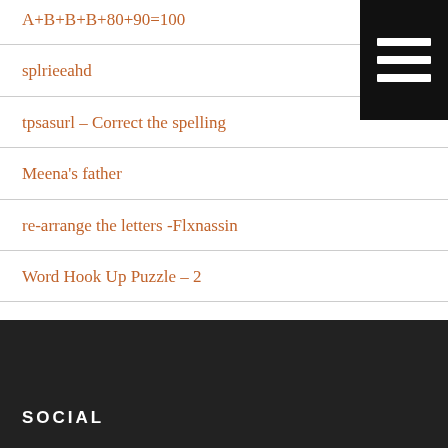A+B+B+B+80+90=100
splrieeahd
tpsasurl – Correct the spelling
Meena's father
re-arrange the letters -Flxnassin
Word Hook Up Puzzle – 2
E.U.E.N.Y.M.O.R.I.A
Correct the spelling
SOCIAL